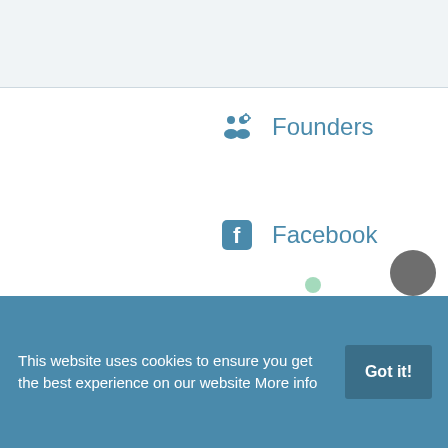Founders
Facebook
LinkedIn
Twitter
This website uses cookies to ensure you get the best experience on our website More info